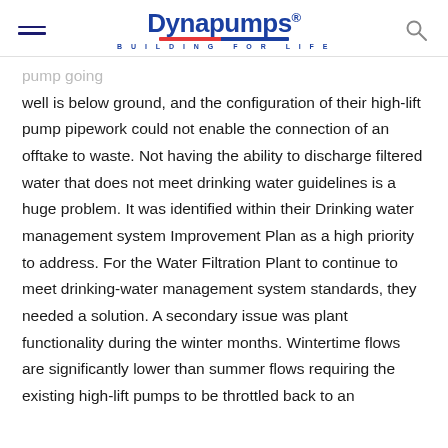Dynapumps — BUILDING FOR LIFE
pump going … well is below ground, and the configuration of their high-lift pump pipework could not enable the connection of an offtake to waste. Not having the ability to discharge filtered water that does not meet drinking water guidelines is a huge problem. It was identified within their Drinking water management system Improvement Plan as a high priority to address. For the Water Filtration Plant to continue to meet drinking-water management system standards, they needed a solution. A secondary issue was plant functionality during the winter months. Wintertime flows are significantly lower than summer flows requiring the existing high-lift pumps to be throttled back to an